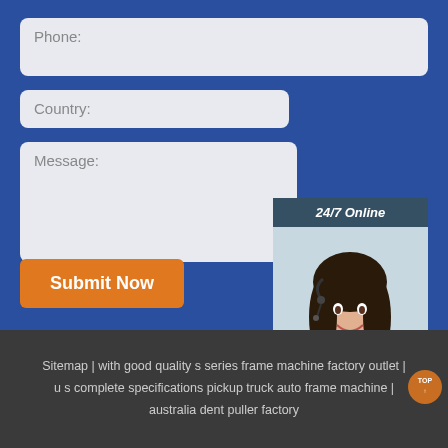[Figure (screenshot): Web contact form with Phone, Country, and Message input fields on a blue background, a 24/7 online chat widget with a customer service representative photo, a Submit Now button, a QUOTATION button, and a footer with sitemap links.]
Sitemap | with good quality s series frame machine factory outlet | u s complete specifications pickup truck auto frame machine | australia dent puller factory